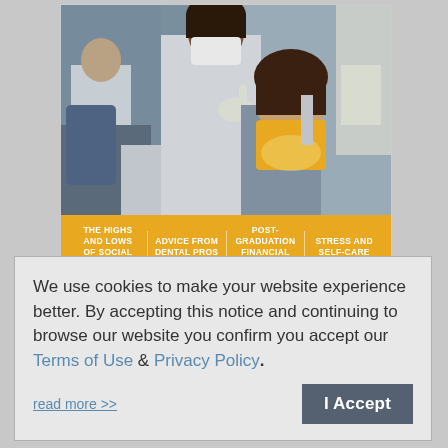[Figure (photo): Dental office scene showing a dentist in mask and gloves working on a patient in a dental chair, with another dental professional visible in the background.]
THE HIGHS AND LOWS OF SOCIAL MEDIA | ADVICE FROM DENTAL PROS | POST-GRADUATION FINANCIAL REALITIES | STRESS AND SELF-CARE
View Special Edition
We use cookies to make your website experience better. By accepting this notice and continuing to browse our website you confirm you accept our Terms of Use & Privacy Policy.
read more >>
I Accept